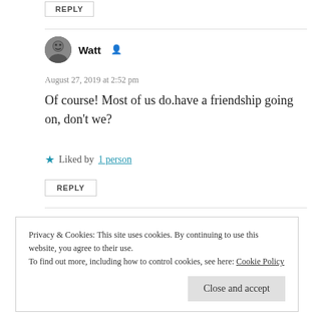REPLY
Watt
August 27, 2019 at 2:52 pm
Of course! Most of us do.have a friendship going on, don't we?
Liked by 1 person
REPLY
Privacy & Cookies: This site uses cookies. By continuing to use this website, you agree to their use.
To find out more, including how to control cookies, see here: Cookie Policy
Close and accept